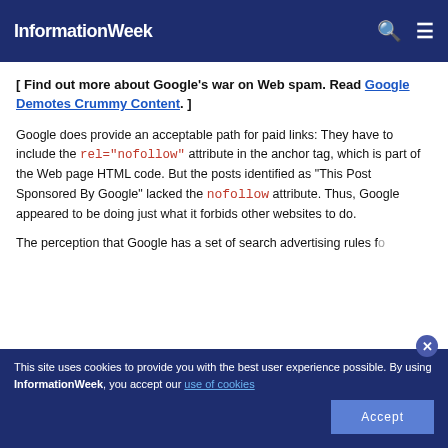InformationWeek
[ Find out more about Google's war on Web spam. Read Google Demotes Crummy Content. ]
Google does provide an acceptable path for paid links: They have to include the rel="nofollow" attribute in the anchor tag, which is part of the Web page HTML code. But the posts identified as "This Post Sponsored By Google" lacked the nofollow attribute. Thus, Google appeared to be doing just what it forbids other websites to do.
The perception that Google has a set of search advertising rules fo...
This site uses cookies to provide you with the best user experience possible. By using InformationWeek, you accept our use of cookies